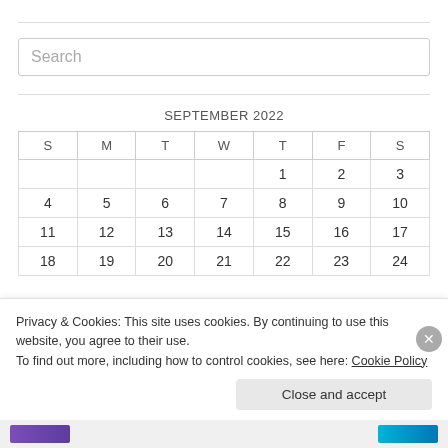Search
| S | M | T | W | T | F | S |
| --- | --- | --- | --- | --- | --- | --- |
|  |  |  |  | 1 | 2 | 3 |
| 4 | 5 | 6 | 7 | 8 | 9 | 10 |
| 11 | 12 | 13 | 14 | 15 | 16 | 17 |
| 18 | 19 | 20 | 21 | 22 | 23 | 24 |
Privacy & Cookies: This site uses cookies. By continuing to use this website, you agree to their use. To find out more, including how to control cookies, see here: Cookie Policy
Close and accept